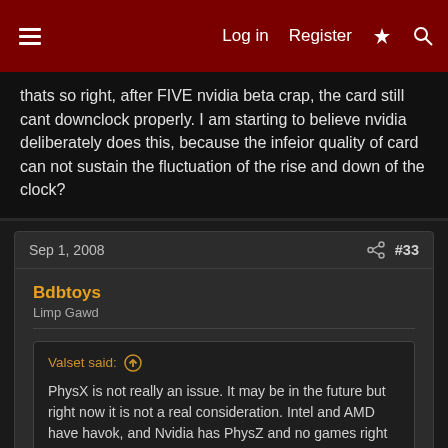Log in | Register | # | Search
thats so right, after FIVE nvidia beta crap, the card still cant downclock properly. I am starting to believe nvidia deliberately does this, because the infeior quality of card can not sustain the fluctuation of the rise and down of the clock?
Sep 1, 2008  #33
Bdbtoys
Limp Gawd
Valset said: ↑
PhysX is not really an issue. It may be in the future but right now it is not a real consideration. Intel and AMD have havok, and Nvidia has PhysZ and no games right now. still an interesting tech though
bangmal said: ↑